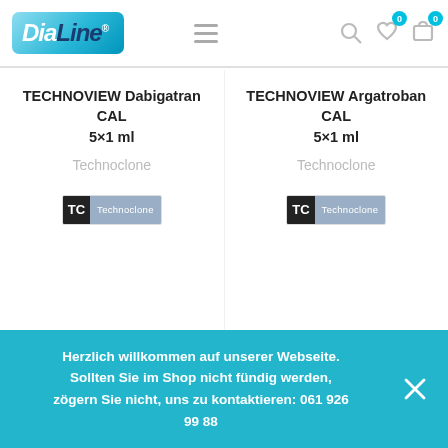DiaLine — navigation header with hamburger menu, search, wishlist, and cart icons
TECHNOVIEW Dabigatran CAL 5×1 ml
Technoclone
[Figure (logo): TC Technoclone logo badge — black TC letters on dark background, blue text area]
TECHNOVIEW Argatroban CAL 5×1 ml
Technoclone
[Figure (logo): TC Technoclone logo badge — black TC letters on dark background, blue text area]
Herzlich willkommen auf unserer Webseite. Sollten Sie im Shop nicht fündig werden, zögern Sie nicht, uns zu kontaktieren: 061 926 99 88